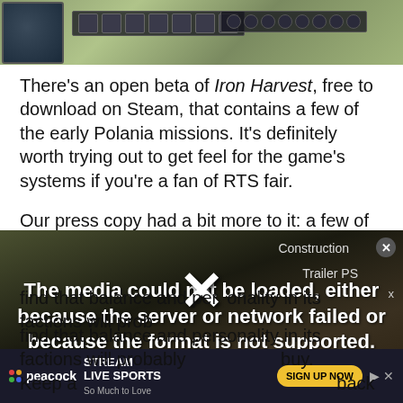[Figure (screenshot): Game screenshot from Iron Harvest showing UI bar with icons and circles, game world in background]
There's an open beta of Iron Harvest, free to download on Steam, that contains a few of the early Polania missions. It's definitely worth trying out to get feel for the game's systems if you're a fan of RTS fair.
Our press copy had a bit more to it: a few of the Saxony missions from later in the campaign and the ability to organize skirmishes with both of those
[Figure (screenshot): Video player showing error message: 'The media could not be loaded, either because the server or network failed or because the format is not supported.' with Construction Trailer PS label]
find that balance and personality in its factions will probably buy. Keep a back
[Figure (other): Peacock advertisement banner: STREAM LIVE SPORTS - SIGN UP NOW]